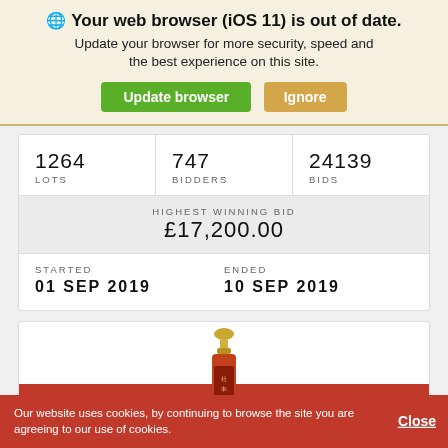🌐 Your web browser (iOS 11) is out of date.
Update your browser for more security, speed and the best experience on this site.
Update browser   Ignore
| 1264
LOTS | 747
BIDDERS | 24139
BIDS |
| HIGHEST WINNING BID
£17,200.00 |
| STARTED
01 SEP 2019 | ENDED
10 SEP 2019 |
[Figure (photo): Partial view of a whisky bottle with red background, showing bottle with gold cap and red label with Chinese characters]
Our website uses cookies, by continuing to browse the site you are agreeing to our use of cookies.   Close